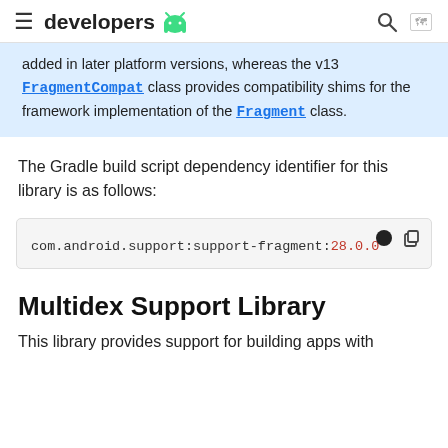≡ developers 🤖 🔍 🌐
added in later platform versions, whereas the v13 FragmentCompat class provides compatibility shims for the framework implementation of the Fragment class.
The Gradle build script dependency identifier for this library is as follows:
com.android.support:support-fragment:28.0.0
Multidex Support Library
This library provides support for building apps with